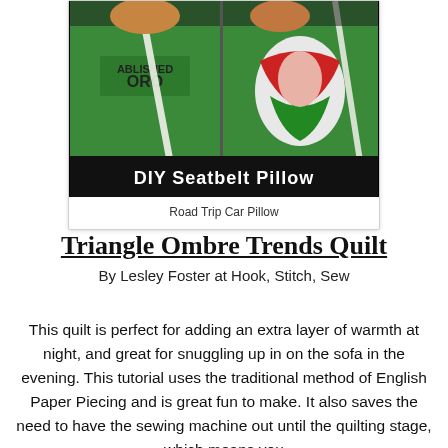[Figure (photo): DIY Seatbelt Pillow – two children in green shirts, one holding a colorful pillow, seatbelts visible. Black banner at bottom reads 'DIY Seatbelt Pillow' in white text.]
Road Trip Car Pillow
Triangle Ombre Trends Quilt
By Lesley Foster at Hook, Stitch, Sew
This quilt is perfect for adding an extra layer of warmth at night, and great for snuggling up in on the sofa in the evening. This tutorial uses the traditional method of English Paper Piecing and is great fun to make. It also saves the need to have the sewing machine out until the quilting stage, which means you